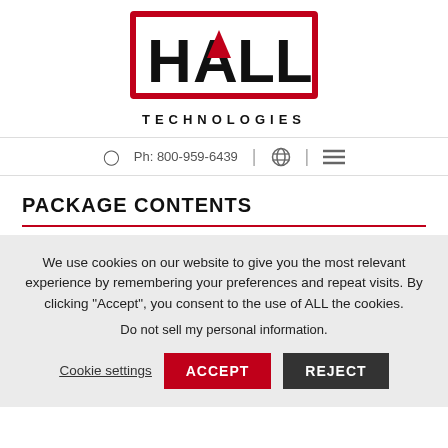[Figure (logo): Hall Technologies logo: red rectangle border with HALL text in black bold letters, red triangle accent inside the A in HALL]
TECHNOLOGIES
Ph: 800-959-6439
PACKAGE CONTENTS
We use cookies on our website to give you the most relevant experience by remembering your preferences and repeat visits. By clicking "Accept", you consent to the use of ALL the cookies.
Do not sell my personal information.
Cookie settings  ACCEPT  REJECT